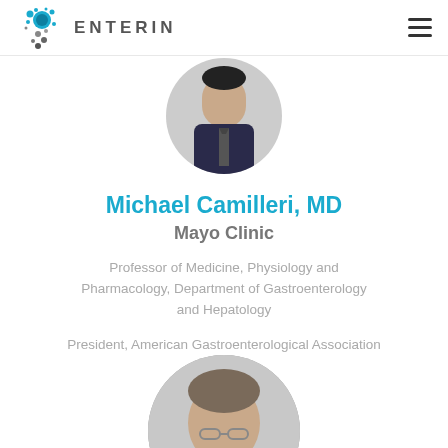ENTERIN
[Figure (photo): Circular headshot photo of Michael Camilleri, MD, partially visible at top]
Michael Camilleri, MD
Mayo Clinic
Professor of Medicine, Physiology and Pharmacology, Department of Gastroenterology and Hepatology
President, American Gastroenterological Association
[Figure (photo): Circular headshot of a man with glasses and short hair, partially visible at bottom]